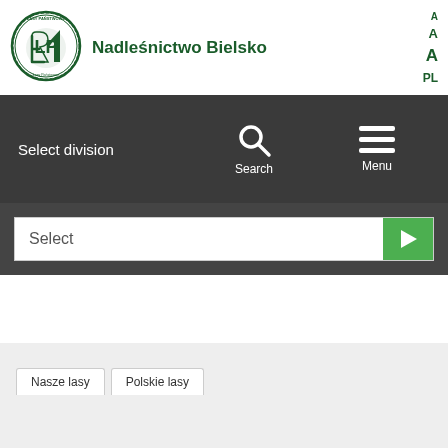[Figure (logo): Lasy Państwowe circular logo with green tree/forest emblem and LP letters]
Nadleśnictwo Bielsko
A A A PL (accessibility font size controls and language selector)
Select division
[Figure (illustration): Search magnifying glass icon]
Search
[Figure (illustration): Hamburger menu icon (three horizontal lines)]
Menu
Select
Nasze lasy
Polskie lasy